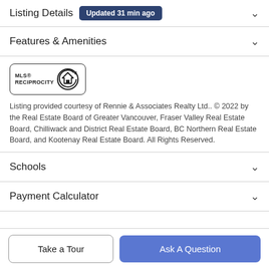Listing Details Updated 31 min ago
Features & Amenities
[Figure (logo): MLS Reciprocity logo — circular house icon with 'MLS® RECIPROCITY' text inside a rounded rectangle border]
Listing provided courtesy of Rennie & Associates Realty Ltd.. © 2022 by the Real Estate Board of Greater Vancouver, Fraser Valley Real Estate Board, Chilliwack and District Real Estate Board, BC Northern Real Estate Board, and Kootenay Real Estate Board. All Rights Reserved.
Schools
Payment Calculator
Take a Tour
Ask A Question